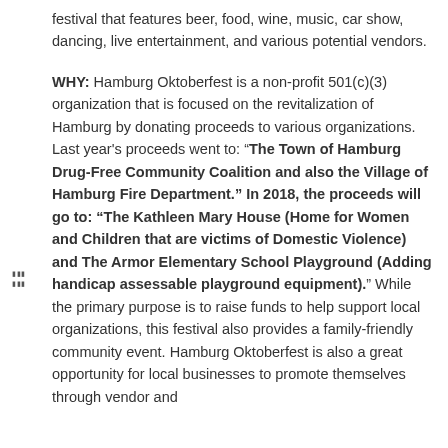festival that features beer, food, wine, music, car show, dancing, live entertainment, and various potential vendors.
WHY: Hamburg Oktoberfest is a non-profit 501(c)(3) organization that is focused on the revitalization of Hamburg by donating proceeds to various organizations. Last year's proceeds went to: "The Town of Hamburg Drug-Free Community Coalition and also the Village of Hamburg Fire Department." In 2018, the proceeds will go to: "The Kathleen Mary House (Home for Women and Children that are victims of Domestic Violence) and The Armor Elementary School Playground (Adding handicap assessable playground equipment)." While the primary purpose is to raise funds to help support local organizations, this festival also provides a family-friendly community event. Hamburg Oktoberfest is also a great opportunity for local businesses to promote themselves through vendor and